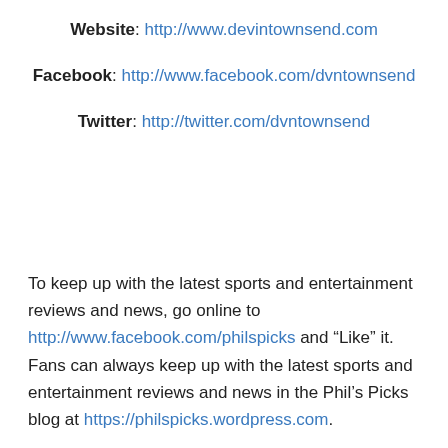Website: http://www.devintownsend.com
Facebook: http://www.facebook.com/dvntownsend
Twitter: http://twitter.com/dvntownsend
To keep up with the latest sports and entertainment reviews and news, go online to http://www.facebook.com/philspicks and “Like” it.  Fans can always keep up with the latest sports and entertainment reviews and news in the Phil’s Picks blog at https://philspicks.wordpress.com.